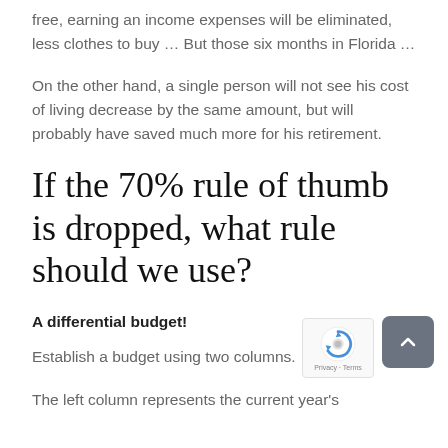free, earning an income expenses will be eliminated, less clothes to buy … But those six months in Florida …
On the other hand, a single person will not see his cost of living decrease by the same amount, but will probably have saved much more for his retirement.
If the 70% rule of thumb is dropped, what rule should we use?
A differential budget!
Establish a budget using two columns.
The left column represents the current year's